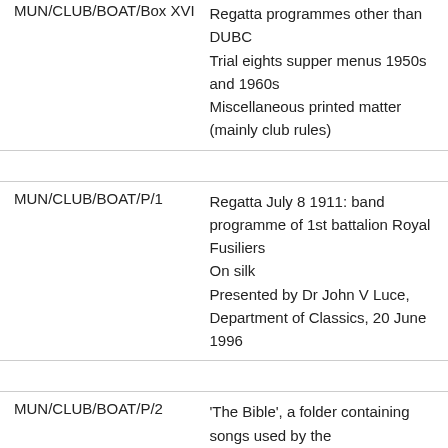| Reference | Description |
| --- | --- |
| MUN/CLUB/BOAT/Box XVI | Regatta programmes other than DUBC
Trial eights supper menus 1950s and 1960s
Miscellaneous printed matter (mainly club rules) |
| MUN/CLUB/BOAT/P/1 | Regatta July 8 1911: band programme of 1st battalion Royal Fusiliers
On silk
Presented by Dr John V Luce, Department of Classics, 20 June 1996 |
| MUN/CLUB/BOAT/P/2 | 'The Bible', a folder containing songs used by the |